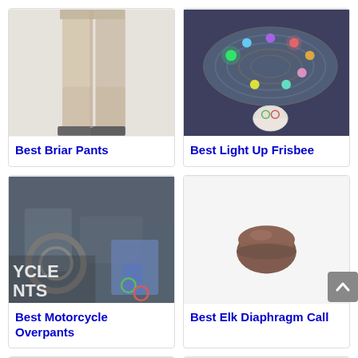[Figure (photo): Person wearing beige/tan briar pants and black boots, lower body visible]
Best Briar Pants
[Figure (photo): Light up frisbee disc with colorful LED lights glowing in green, blue, pink, with a white brain-shaped figure below it]
Best Light Up Frisbee
[Figure (photo): Motorcycle overpants shown with motorcycle and gear in background, text CYCLE and NTS visible with colorful gear icons]
Best Motorcycle Overpants
[Figure (photo): Brown elk diaphragm call, small dome-shaped object on white background]
Best Elk Diaphragm Call